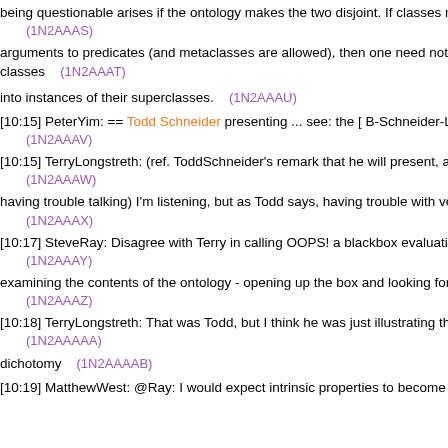being questionable arises if the ontology makes the two disjoint. If classes ma... (1N2AAAS)
arguments to predicates (and metaclasses are allowed), then one need not m... classes (1N2AAAT)
into instances of their superclasses. (1N2AAAU)
[10:15] PeterYim: == Todd Schneider presenting ... see: the [ B-Schneider-Lo... (1N2AAAV)
[10:15] TerryLongstreth: (ref. ToddSchneider's remark that he will present, as T... (1N2AAAW)
having trouble talking) I'm listening, but as Todd says, having trouble with verb... (1N2AAAX)
[10:17] SteveRay: Disagree with Terry in calling OOPS! a blackbox evaluation... (1N2AAAY)
examining the contents of the ontology - opening up the box and looking for st... (1N2AAAZ)
[10:18] TerryLongstreth: That was Todd, but I think he was just illustrating the a... (1N2AAAAA)
dichotomy (1N2AAAAB)
[10:19] MatthewWest: @Ray: I would expect intrinsic properties to become in...